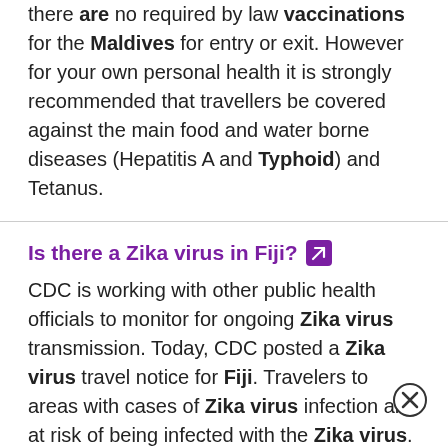there are no required by law vaccinations for the Maldives for entry or exit. However for your own personal health it is strongly recommended that travellers be covered against the main food and water borne diseases (Hepatitis A and Typhoid) and Tetanus.
Is there a Zika virus in Fiji?
CDC is working with other public health officials to monitor for ongoing Zika virus transmission. Today, CDC posted a Zika virus travel notice for Fiji. Travelers to areas with cases of Zika virus infection are at risk of being infected with the Zika virus.